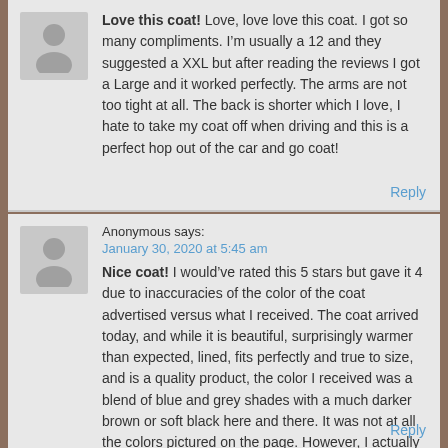Love this coat! Love, love love this coat. I got so many compliments. I'm usually a 12 and they suggested a XXL but after reading the reviews I got a Large and it worked perfectly. The arms are not too tight at all. The back is shorter which I love, I hate to take my coat off when driving and this is a perfect hop out of the car and go coat!
Reply
Anonymous says:
January 30, 2020 at 5:45 am
Nice coat! I would've rated this 5 stars but gave it 4 due to inaccuracies of the color of the coat advertised versus what I received. The coat arrived today, and while it is beautiful, surprisingly warmer than expected, lined, fits perfectly and true to size, and is a quality product, the color I received was a blend of blue and grey shades with a much darker brown or soft black here and there. It was not at all the colors pictured on the page. However, I actually like the one I received more. I'm 5'4"…
Reply